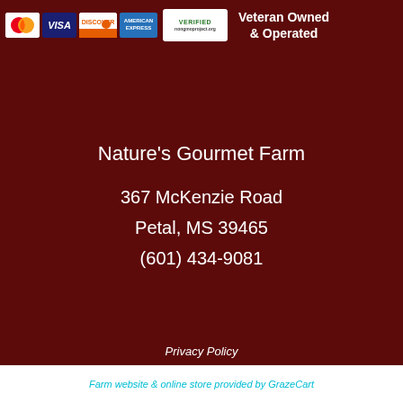[Figure (logo): Payment card logos (MasterCard, Visa, Discover, American Express) and NonGMO Project Verified badge, with Veteran Owned & Operated text]
Nature's Gourmet Farm
367 McKenzie Road
Petal, MS 39465
(601) 434-9081
Privacy Policy
Farm website & online store provided by GrazeCart